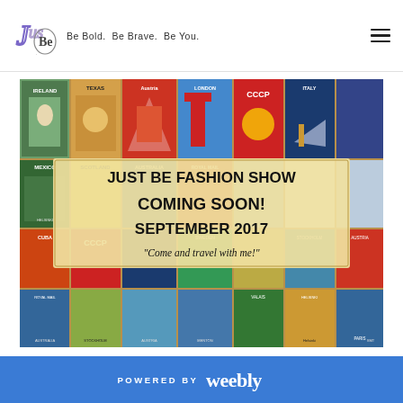Just Be — Be Bold. Be Brave. Be You.
[Figure (photo): Vintage travel poster collage showing posters for Ireland, Texas, Austria, London, USSR, Italy, Mexico, Scotland, Australia, Royal Mail, Helsinki, Cuba, Sweden, Stockholm, Royal Mail, Atlantic, Australia, Menton, Valais, Helsinki, Paris, SMT, and others. Overlaid with a banner announcing Just Be Fashion Show, Coming Soon!, September 2017, 'Come and travel with me!']
POWERED BY weebly